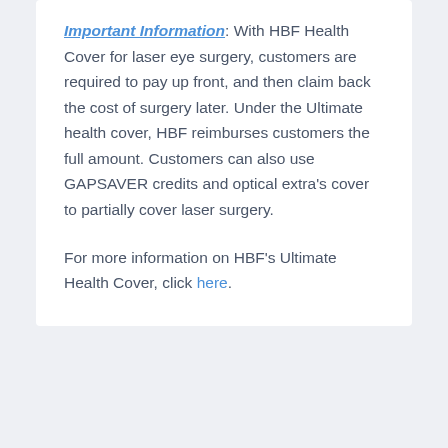Important Information: With HBF Health Cover for laser eye surgery, customers are required to pay up front, and then claim back the cost of surgery later. Under the Ultimate health cover, HBF reimburses customers the full amount. Customers can also use GAPSAVER credits and optical extra's cover to partially cover laser surgery.
For more information on HBF's Ultimate Health Cover, click here.